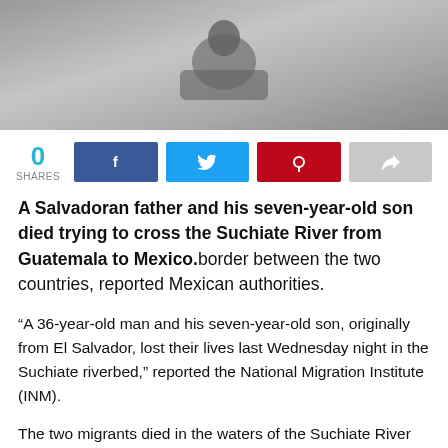[Figure (photo): Grayscale photo of a person on a motorcycle or similar vehicle on a wet or gray surface]
0 SHARES
A Salvadoran father and his seven-year-old son died trying to cross the Suchiate River from Guatemala to Mexico.border between the two countries, reported Mexican authorities.
“A 36-year-old man and his seven-year-old son, originally from El Salvador, lost their lives last Wednesday night in the Suchiate riverbed,” reported the National Migration Institute (INM).
The two migrants died in the waters of the Suchiate River while trying to cross it; the force of the water and the rain did not allow them...